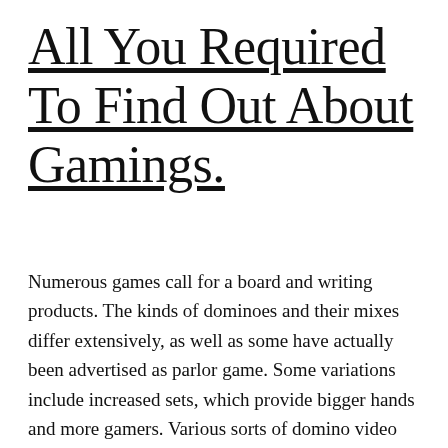All You Required To Find Out About Gamings.
Numerous games call for a board and writing products. The kinds of dominoes and their mixes differ extensively, as well as some have actually been advertised as parlor game. Some variations include increased sets, which provide bigger hands and more gamers. Various sorts of domino video games exist, consisting of Muggins, Mexican Train, and also [...]